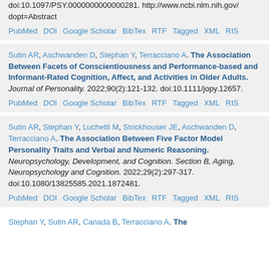doi:10.1097/PSY.0000000000000281. http://www.ncbi.nlm.nih.gov/...dopt=Abstract
PubMed DOI Google Scholar BibTex RTF Tagged XML RIS
Sutin AR, Aschwanden D, Stephan Y, Terracciano A. The Association Between Facets of Conscientiousness and Performance-based and Informant-Rated Cognition, Affect, and Activities in Older Adults. Journal of Personality. 2022;90(2):121-132. doi:10.1111/jopy.12657.
PubMed DOI Google Scholar BibTex RTF Tagged XML RIS
Sutin AR, Stephan Y, Luchetti M, Strickhouser JE, Aschwanden D, Terracciano A. The Association Between Five Factor Model Personality Traits and Verbal and Numeric Reasoning. Neuropsychology, Development, and Cognition. Section B, Aging, Neuropsychology and Cognition. 2022;29(2):297-317. doi:10.1080/13825585.2021.1872481.
PubMed DOI Google Scholar BibTex RTF Tagged XML RIS
Stephan Y, Sutin AR, Canada B, Terracciano A. The ...